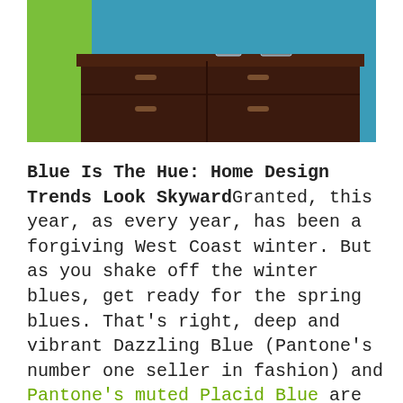[Figure (photo): Interior room photo showing a dark wood dresser/sideboard against a blue wall, with glass objects on top; green wall visible on the left.]
Blue Is The Hue: Home Design Trends Look SkywardGranted, this year, as every year, has been a forgiving West Coast winter. But as you shake off the winter blues, get ready for the spring blues. That's right, deep and vibrant Dazzling Blue (Pantone's number one seller in fashion) and Pantone's muted Placid Blue are going to be major players as far as home design trends go in 2014. When it comes to painting the interior of the house, the colour blue will be wildly popular. In the Vancouver real estate market, beige may be fine for the exterior – but if you still have those tan chinos in the closet,